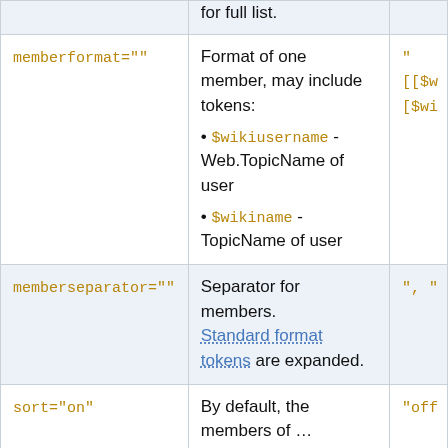| Parameter | Description | Default |
| --- | --- | --- |
| memberformat="" | Format of one member, may include tokens:
• $wikiusername - Web.TopicName of user
• $wikiname - TopicName of user | "[[$w[$wi |
| memberseparator="" | Separator for members. Standard format tokens are expanded. | ", " |
| sort="on" | By default, the members of ... | "off |